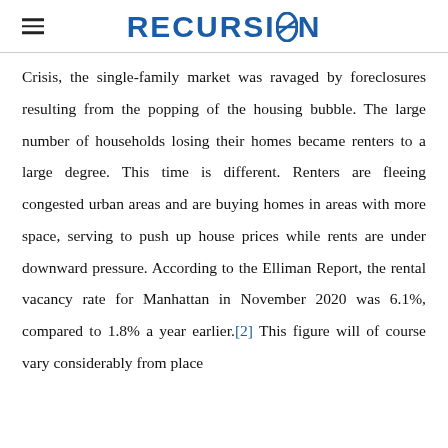RECURSION
Crisis, the single-family market was ravaged by foreclosures resulting from the popping of the housing bubble. The large number of households losing their homes became renters to a large degree. This time is different. Renters are fleeing congested urban areas and are buying homes in areas with more space, serving to push up house prices while rents are under downward pressure. According to the Elliman Report, the rental vacancy rate for Manhattan in November 2020 was 6.1%, compared to 1.8% a year earlier.[2] This figure will of course vary considerably from place